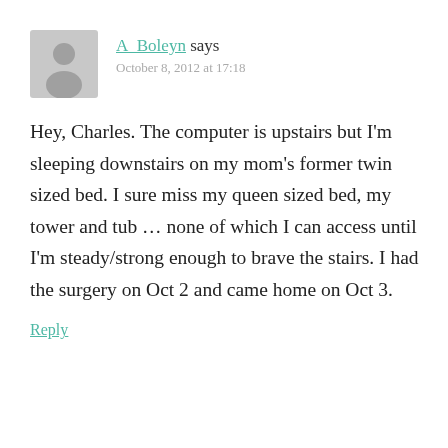A_Boleyn says
October 8, 2012 at 17:18
Hey, Charles. The computer is upstairs but I'm sleeping downstairs on my mom's former twin sized bed. I sure miss my queen sized bed, my tower and tub … none of which I can access until I'm steady/strong enough to brave the stairs. I had the surgery on Oct 2 and came home on Oct 3.
Reply